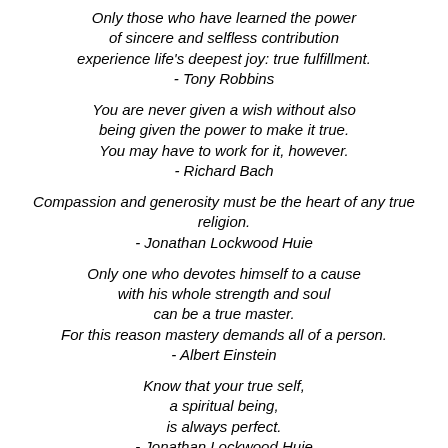Only those who have learned the power of sincere and selfless contribution experience life's deepest joy: true fulfillment. - Tony Robbins
You are never given a wish without also being given the power to make it true. You may have to work for it, however. - Richard Bach
Compassion and generosity must be the heart of any true religion. - Jonathan Lockwood Huie
Only one who devotes himself to a cause with his whole strength and soul can be a true master. For this reason mastery demands all of a person. - Albert Einstein
Know that your true self, a spiritual being, is always perfect. - Jonathan Lockwood Huie
To be a beneficial presence in the world,